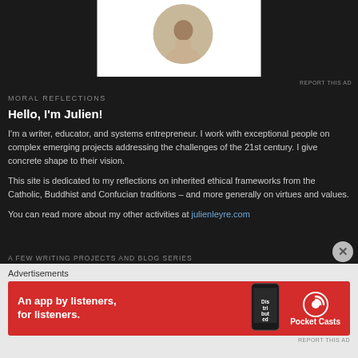[Figure (photo): Person writing at a desk, shown as partial circular cropped photo in upper right of dark banner]
REPORT THIS AD
MORAL REFLECTIONS
Hello, I'm Julien!
I'm a writer, educator, and systems entrepreneur. I work with exceptional people on complex emerging projects addressing the challenges of the 21st century. I give concrete shape to their vision.
This site is dedicated to my reflections on inherited ethical frameworks from the Catholic, Buddhist and Confucian traditions – and more generally on virtues and values.
You can read more about my other activities at julienleyre.com
A FEW WRITING PROJECTS AND BLOG SERIES
My practice: reflections on the work I do and principles I follow
Advertisements
[Figure (illustration): Pocket Casts advertisement: red background with phone showing 'Distributed' app, text 'An app by listeners, for listeners.' and Pocket Casts logo]